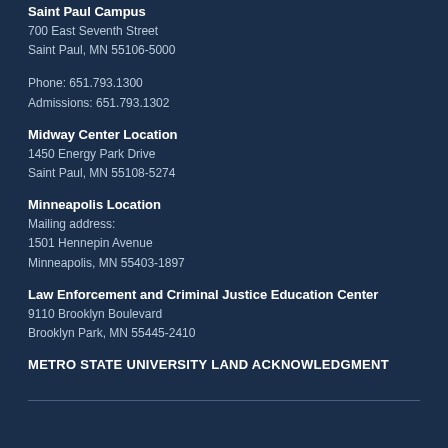Saint Paul Campus
700 East Seventh Street
Saint Paul, MN 55106-5000
Phone: 651.793.1300
Admissions: 651.793.1302
Midway Center Location
1450 Energy Park Drive
Saint Paul, MN 55108-5274
Minneapolis Location
Mailing address:
1501 Hennepin Avenue
Minneapolis, MN 55403-1897
Law Enforcement and Criminal Justice Education Center
9110 Brooklyn Boulevard
Brooklyn Park, MN 55445-2410
METRO STATE UNIVERSITY LAND ACKNOWLEDGMENT